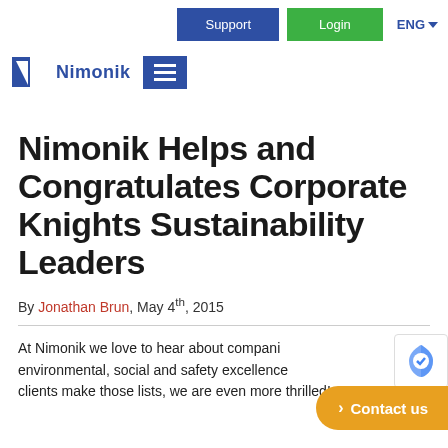Support | Login | ENG
[Figure (logo): Nimonik logo with N mark and hamburger menu button]
Nimonik Helps and Congratulates Corporate Knights Sustainability Leaders
By Jonathan Brun, May 4th, 2015
At Nimonik we love to hear about companies achieving environmental, social and safety excellence. When our clients make those lists, we are even more thrilled!